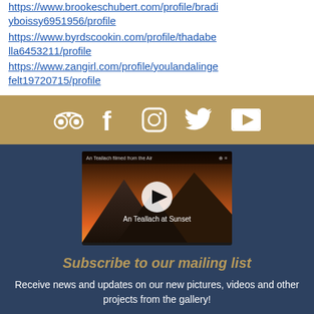https://www.brookeschubert.com/profile/bradiyboissy6951956/profile
https://www.byrdscookin.com/profile/thadabella6453211/profile
https://www.zangirl.com/profile/youlandalingefelt19720715/profile
[Figure (infographic): Social media icons bar with gold background: TripAdvisor, Facebook, Instagram, Twitter, YouTube icons in white]
[Figure (screenshot): Video thumbnail showing An Teallach at Sunset - mountain landscape at sunset with a YouTube play button overlay and title text]
Subscribe to our mailing list
Receive news and updates on our new pictures, videos and other projects from the gallery!